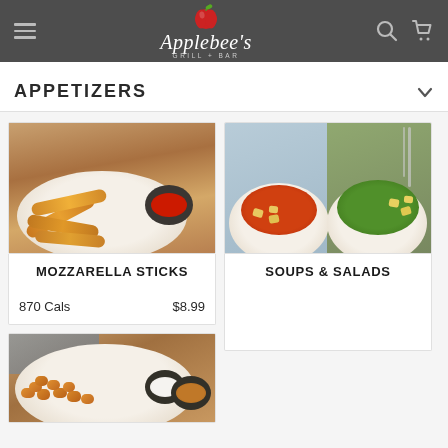Applebee's GRILL + BAR
APPETIZERS
[Figure (photo): Mozzarella sticks on a white plate with red dipping sauce in a dark bowl]
MOZZARELLA STICKS
870 Cals    $8.99
[Figure (photo): Soups and salads: tomato soup with croutons in a white bowl and Caesar salad in a white bowl]
SOUPS & SALADS
[Figure (photo): Crispy tater tots on a white plate with two dark dipping sauce bowls containing ranch and BBQ sauce]